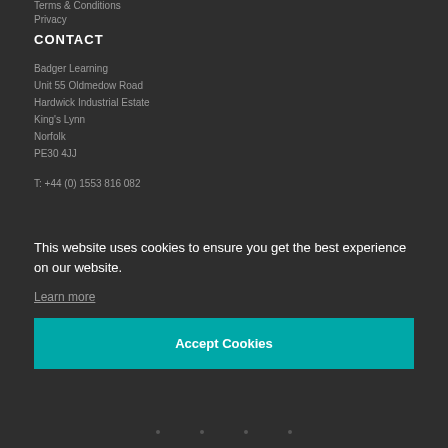Terms & Conditions
Privacy
CONTACT
Badger Learning
Unit 55 Oldmedow Road
Hardwick Industrial Estate
King's Lynn
Norfolk
PE30 4JJ
T: +44 (0) 1553 816 082
This website uses cookies to ensure you get the best experience on our website.
Learn more
Accept Cookies